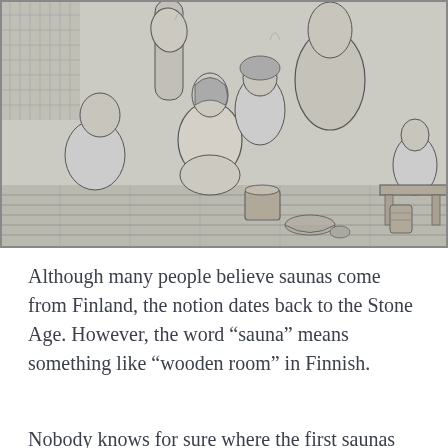[Figure (illustration): A black-and-white engraving or etching depicting a historical sauna scene. Multiple nude and semi-clothed figures of various ages are shown in a wooden bathing room. Figures include women, men, and children in various poses — bathing, washing, and relaxing. Wooden buckets, tubs, and benches are visible. The style is reminiscent of Renaissance or early modern European artwork.]
Although many people believe saunas come from Finland, the notion dates back to the Stone Age. However, the word “sauna” means something like “wooden room” in Finnish.
Nobody knows for sure where the first saunas